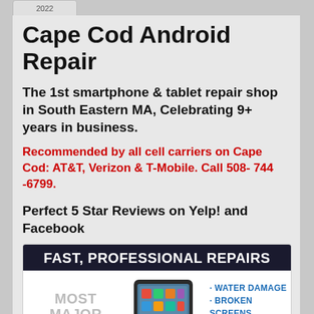2022
Cape Cod Android Repair
The 1st smartphone & tablet repair shop in South Eastern MA, Celebrating 9+ years in business.
Recommended by all cell carriers on Cape Cod: AT&T, Verizon & T-Mobile. Call 508- 744 -6799.
Perfect 5 Star Reviews on Yelp! and Facebook
[Figure (infographic): Advertisement banner reading FAST, PROFESSIONAL REPAIRS with sections: MOST MAJOR BRANDS, a tablet device image, and bullet points: WATER DAMAGE, BROKEN SCREENS, BROKEN GLASS, BATTERIES]